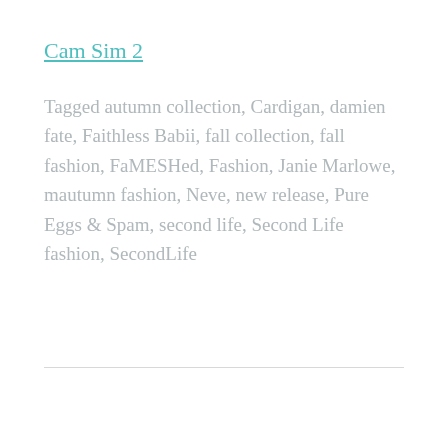Cam Sim 2
Tagged autumn collection, Cardigan, damien fate, Faithless Babii, fall collection, fall fashion, FaMESHed, Fashion, Janie Marlowe, mautumn fashion, Neve, new release, Pure Eggs & Spam, second life, Second Life fashion, SecondLife